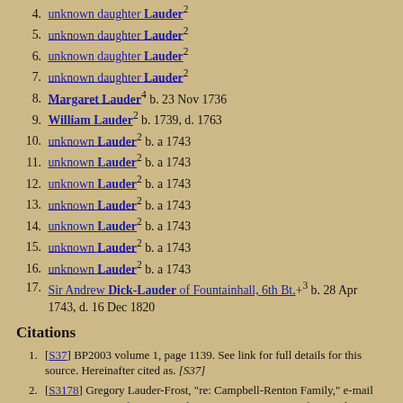4. unknown daughter Lauder²
5. unknown daughter Lauder²
6. unknown daughter Lauder²
7. unknown daughter Lauder²
8. Margaret Lauder⁴ b. 23 Nov 1736
9. William Lauder² b. 1739, d. 1763
10. unknown Lauder² b. a 1743
11. unknown Lauder² b. a 1743
12. unknown Lauder² b. a 1743
13. unknown Lauder² b. a 1743
14. unknown Lauder² b. a 1743
15. unknown Lauder² b. a 1743
16. unknown Lauder² b. a 1743
17. Sir Andrew Dick-Lauder of Fountainhall, 6th Bt.+³ b. 28 Apr 1743, d. 16 Dec 1820
Citations
1. [S37] BP2003 volume 1, page 1139. See link for full details for this source. Hereinafter cited as. [S37]
2. [S3178] Gregory Lauder-Frost, "re: Campbell-Renton Family," e-mail message to Darryl Roger Lundy, 10 June 2008. Hereinafter cited as "re: Campbell-Renton Family."
3. [S37] BP2003. [S37]
4. [S3508] S. Thomson, "email: Kirwan Family," e-mail